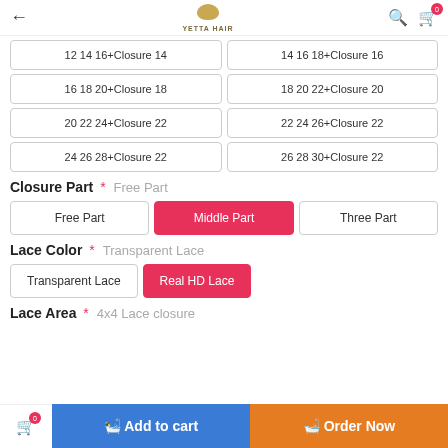← YETTA HAIR [search] [cart 0]
12 14 16+Closure 14
14 16 18+Closure 16
16 18 20+Closure 18
18 20 22+Closure 20
20 22 24+Closure 22
22 24 26+Closure 22
24 26 28+Closure 22
26 28 30+Closure 22
Closure Part * Free Part
Free Part
Middle Part
Three Part
Lace Color * Transparent Lace
Transparent Lace
Real HD Lace
Lace Area * 4x4 Lace closure
[cart 0] 🛒 Add to cart  🛒 Order Now